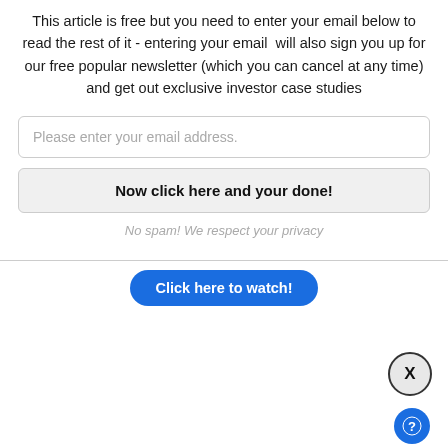This article is free but you need to enter your email below to read the rest of it - entering your email will also sign you up for our free popular newsletter (which you can cancel at any time) and get out exclusive investor case studies
Please enter your email address.
Now click here and your done!
No spam! We respect your privacy
Click here to watch!